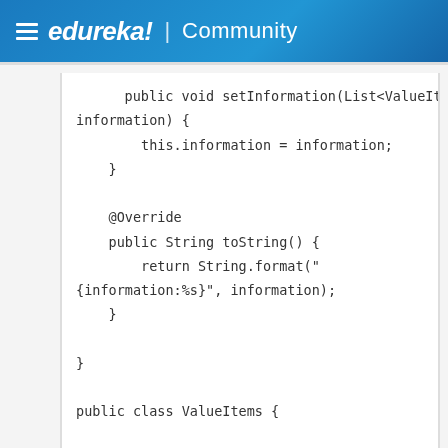≡ edureka! | Community
public void setInformation(List<ValueItems> information) {
            this.information = information;
    }

    @Override
    public String toString() {
            return String.format("
{information:%s}", information);
    }

}

public class ValueItems {

    private String timestamp;
    private String feature;
    private int ean;
    private String data;